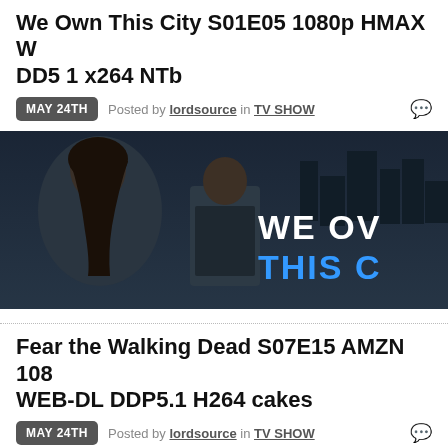We Own This City S01E05 1080p HMAX WEB DD5 1 x264 NTb
MAY 24TH  Posted by lordsource in TV SHOW
[Figure (photo): Promotional banner for 'We Own This City' TV show showing two actors against a dark city skyline with the show title text visible]
Fear the Walking Dead S07E15 AMZN 1080p WEB-DL DDP5.1 H264 cakes
MAY 24TH  Posted by lordsource in TV SHOW
[Figure (photo): Promotional banner for 'Fear the Walking Dead' TV show, dark image with show title text]